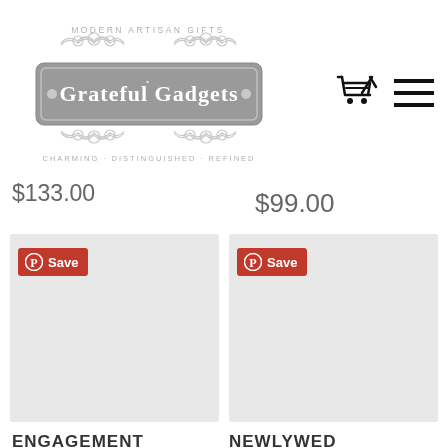[Figure (logo): Grateful Gadgets logo — ornate gray badge with text 'MODERN ARTISAN GIFTS' at top, 'Grateful Gadgets' in center, 'CHARMING · DISTINGUISHED · REFINED' at bottom, decorative scrollwork]
[Figure (other): Shopping cart icon (black)]
[Figure (other): Hamburger menu icon (black)]
$133.00
$99.00
[Figure (photo): Product image placeholder (light gray rectangle) with red Pinterest Save badge]
[Figure (photo): Product image placeholder (light gray rectangle) with red Pinterest Save badge]
ENGAGEMENT
NEWLYWED